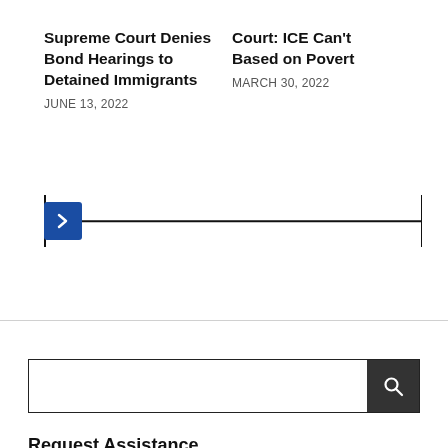Supreme Court Denies Bond Hearings to Detained Immigrants
JUNE 13, 2022
Court: ICE Can't Based on Povert
MARCH 30, 2022
[Figure (other): A horizontal slider UI element with a blue chevron thumb on the left side, a horizontal line spanning the width, and vertical end caps on both sides.]
Request Assistance